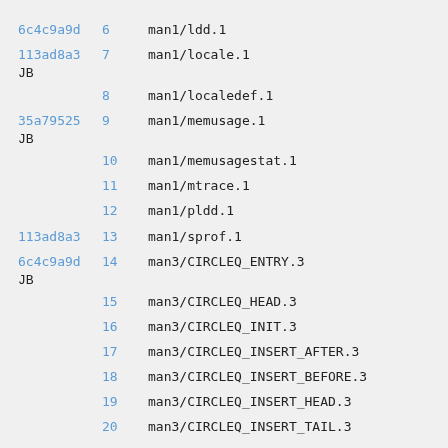| hash | num | path |
| --- | --- | --- |
| 6c4c9a9d | 6 | man1/ldd.1 |
| 113ad8a3
JB | 7 | man1/locale.1 |
|  | 8 | man1/localedef.1 |
| 35a79525
JB | 9 | man1/memusage.1 |
|  | 10 | man1/memusagestat.1 |
|  | 11 | man1/mtrace.1 |
|  | 12 | man1/pldd.1 |
| 113ad8a3 | 13 | man1/sprof.1 |
| 6c4c9a9d
JB | 14 | man3/CIRCLEQ_ENTRY.3 |
|  | 15 | man3/CIRCLEQ_HEAD.3 |
|  | 16 | man3/CIRCLEQ_INIT.3 |
|  | 17 | man3/CIRCLEQ_INSERT_AFTER.3 |
|  | 18 | man3/CIRCLEQ_INSERT_BEFORE.3 |
|  | 19 | man3/CIRCLEQ_INSERT_HEAD.3 |
|  | 20 | man3/CIRCLEQ_INSERT_TAIL.3 |